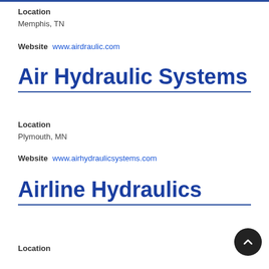Location
Memphis, TN
Website  www.airdraulic.com
Air Hydraulic Systems
Location
Plymouth, MN
Website  www.airhydraulicsystems.com
Airline Hydraulics
Location